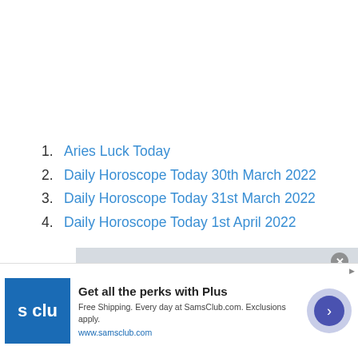1. Aries Luck Today
2. Daily Horoscope Today 30th March 2022
3. Daily Horoscope Today 31st March 2022
4. Daily Horoscope Today 1st April 2022
[Figure (screenshot): Video player overlay showing 'No compatible source was found for this media.' message with semi-transparent gray background and close button]
Get all the perks with Plus
Free Shipping. Every day at SamsClub.com. Exclusions apply.
www.samsclub.com